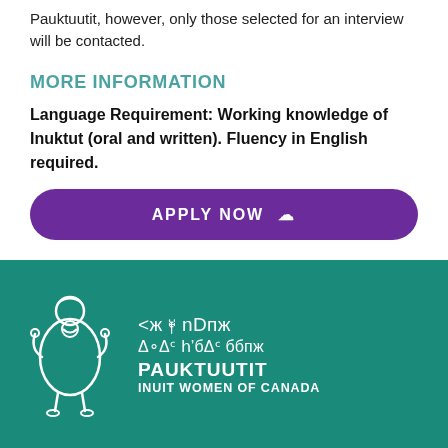Pauktuutit, however, only those selected for an interview will be contacted.
MORE INFORMATION
Language Requirement: Working knowledge of Inuktut (oral and written). Fluency in English required.
APPLY NOW
[Figure (logo): Pauktuutit Inuit Women of Canada logo — white illustration of an Inuit figure on teal background with Inuktitut syllabics and English organization name]